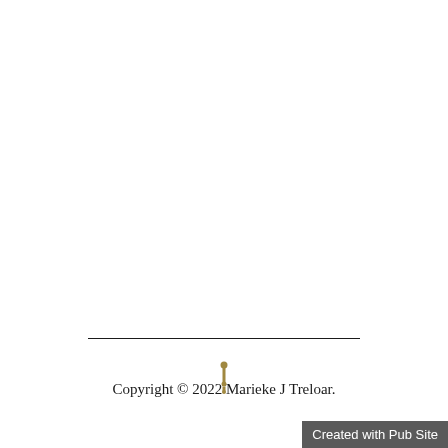[Figure (illustration): Decorative horizontal rule divider line]
[Figure (illustration): Small golden ornamental flourish symbol]
Copyright © 2022 Marieke J Treloar.
Created with Pub Site